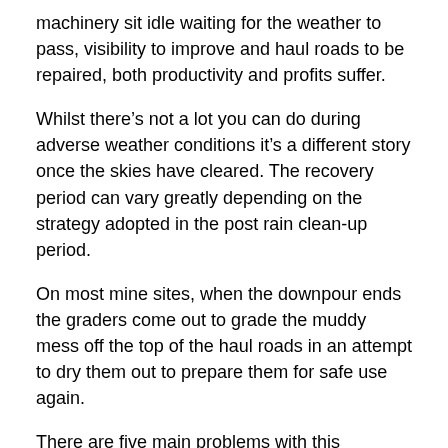machinery sit idle waiting for the weather to pass, visibility to improve and haul roads to be repaired, both productivity and profits suffer.
Whilst there’s not a lot you can do during adverse weather conditions it’s a different story once the skies have cleared. The recovery period can vary greatly depending on the strategy adopted in the post rain clean-up period.
On most mine sites, when the downpour ends the graders come out to grade the muddy mess off the top of the haul roads in an attempt to dry them out to prepare them for safe use again.
There are five main problems with this approach:
The mine loses even more production time
The grader destroys much of the road surface material